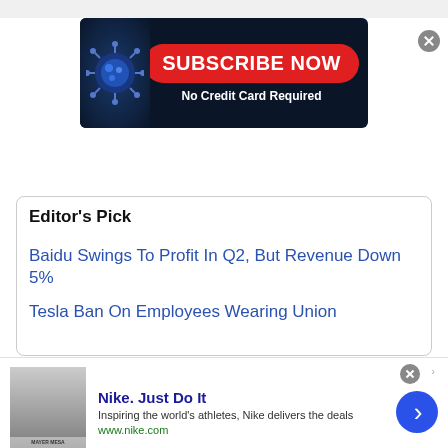[Figure (screenshot): Top white area with a close/dismiss button (X) in the top right corner]
[Figure (screenshot): Subscribe Now banner with dark blue background, red rounded button reading 'SUBSCRIBE NOW', subtitle 'No Credit Card Required', and coronavirus graphic on the left side]
Editor's Pick
Baidu Swings To Profit In Q2, But Revenue Down 5%
Tesla Ban On Employees Wearing Union
[Figure (screenshot): Bottom advertisement bar for Nike. Just Do It with thumbnail image, description 'Inspiring the world's athletes, Nike delivers the deals', URL www.nike.com, blue circular arrow button, and close (X) button]